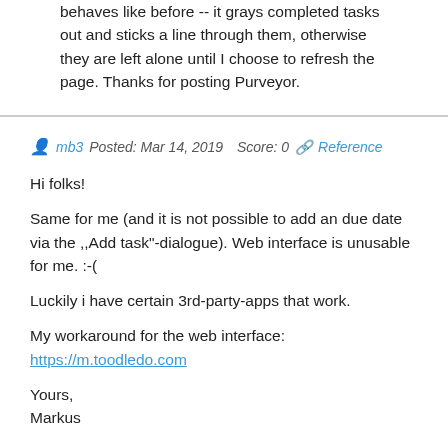behaves like before -- it grays completed tasks out and sticks a line through them, otherwise they are left alone until I choose to refresh the page. Thanks for posting Purveyor.
mb3   Posted: Mar 14, 2019   Score: 0   Reference
Hi folks!

Same for me (and it is not possible to add an due date via the ,,Add task"-dialogue). Web interface is unusable for me. :-(

Luckily i have certain 3rd-party-apps that work.

My workaround for the web interface: https://m.toodledo.com

Yours,
Markus
david.askew   Posted: Mar 14, 2019   Score: 0   Reference